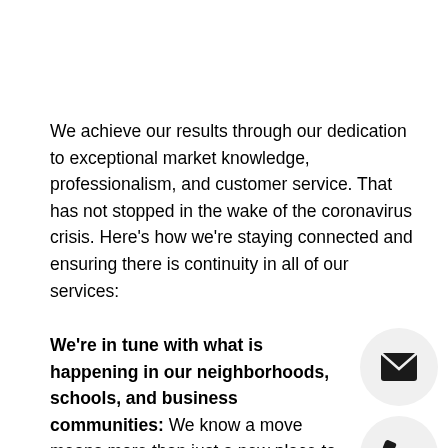We achieve our results through our dedication to exceptional market knowledge, professionalism, and customer service. That has not stopped in the wake of the coronavirus crisis. Here's how we're staying connected and ensuring there is continuity in all of our services:
We're in tune with what is happening in our neighborhoods, schools, and business communities: We know a move means more than just a new place to live. You may be wondering, how has the coronavirus crisis has impacted the area? Because our agents live